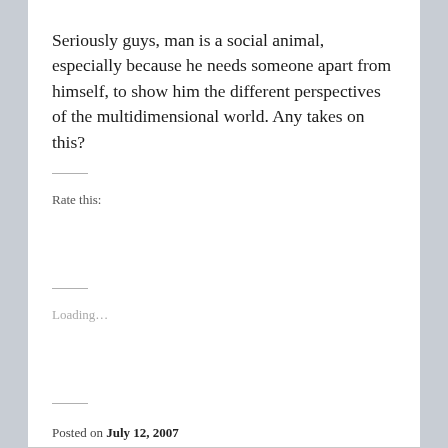Seriously guys, man is a social animal, especially because he needs someone apart from himself, to show him the different perspectives of the multidimensional world. Any takes on this?
Rate this:
Loading…
Posted on July 12, 2007
Posted in Social
5 Comments